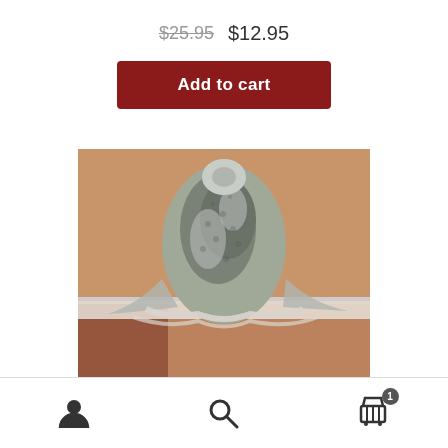$25.95  $12.95
Add to cart
[Figure (photo): A gray lace veil or mantilla draped over a stand, photographed on a wooden surface against a warm beige background.]
User icon, Search icon, Cart icon with badge 1